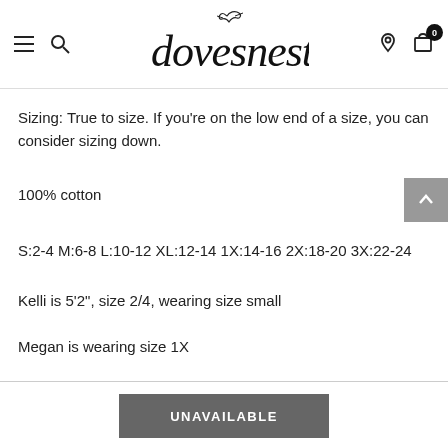dovesnest
Sizing:  True to size.  If you're on the low end of a size, you can consider sizing down.
100% cotton
S:2-4 M:6-8 L:10-12 XL:12-14 1X:14-16 2X:18-20 3X:22-24
Kelli is 5'2", size 2/4, wearing size small
Megan is wearing size 1X
UNAVAILABLE